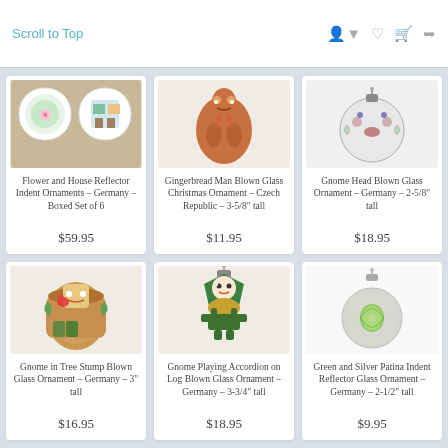Scroll to Top
[Figure (photo): Flower and House Reflector Indent Ornaments product image]
Flower and House Reflector Indent Ornaments – Germany – Boxed Set of 6
$59.95
[Figure (photo): Gingerbread Man Blown Glass Christmas Ornament product image]
Gingerbread Man Blown Glass Christmas Ornament – Czech Republic – 3-5/8" tall
$11.95
[Figure (photo): Gnome Head Blown Glass Ornament product image]
Gnome Head Blown Glass Ornament – Germany – 2-5/8" tall
$18.95
[Figure (photo): Gnome in Tree Stump Blown Glass Ornament product image]
Gnome in Tree Stump Blown Glass Ornament – Germany – 3" tall
$16.95
[Figure (photo): Gnome Playing Accordion on Log Blown Glass Ornament product image]
Gnome Playing Accordion on Log Blown Glass Ornament – Germany – 3-3/4" tall
$18.95
[Figure (photo): Green and Silver Patina Indent Reflector Glass Ornament product image]
Green and Silver Patina Indent Reflector Glass Ornament – Germany – 2-1/2" tall
$9.95